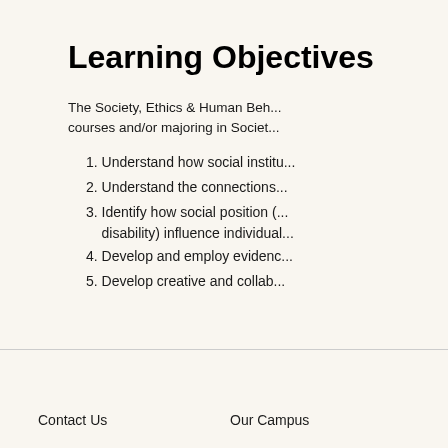Learning Objectives
The Society, Ethics & Human Beh... courses and/or majoring in Societ...
1. Understand how social institu...
2. Understand the connections...
3. Identify how social position (...
   disability) influence individual...
4. Develop and employ evidenc...
5. Develop creative and collab...
Contact Us    Our Campus